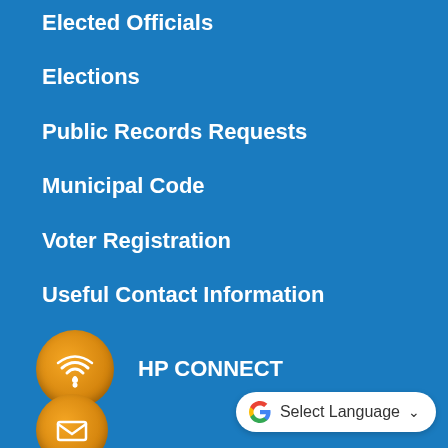Elected Officials
Elections
Public Records Requests
Municipal Code
Voter Registration
Useful Contact Information
[Figure (infographic): Orange circle icon with wifi/signal waves symbol, next to HP CONNECT label in white bold text]
[Figure (infographic): Orange circle icon with envelope/mail symbol, partially visible at bottom]
[Figure (logo): Google Translate widget with Google G logo, Select Language text, and dropdown arrow in white rounded pill shape]